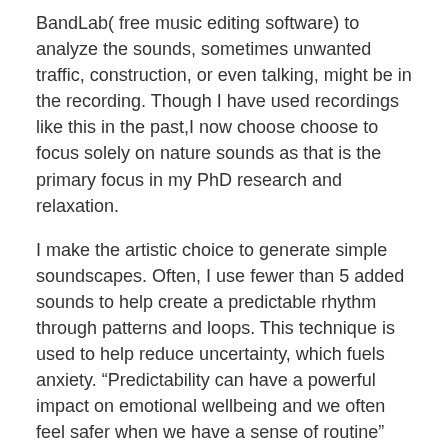BandLab( free music editing software) to analyze the sounds, sometimes unwanted traffic, construction, or even talking, might be in the recording. Though I have used recordings like this in the past,I now choose choose to focus solely on nature sounds as that is the primary focus in my PhD research and relaxation.
I make the artistic choice to generate simple soundscapes. Often, I use fewer than 5 added sounds to help create a predictable rhythm through patterns and loops. This technique is used to help reduce uncertainty, which fuels anxiety. “Predictability can have a powerful impact on emotional wellbeing and we often feel safer when we have a sense of routine” (NAC Wellbeing). From my experience, hearing a predictable repeated patterns of sound assists relaxation and provides order and routine. This means that each time I listen to the soundscape, I know what to expect and can relieve my stress through repetition.